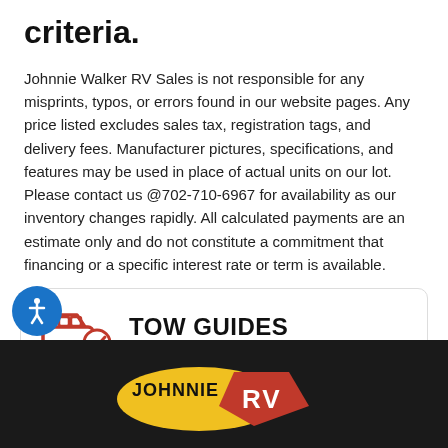criteria.
Johnnie Walker RV Sales is not responsible for any misprints, typos, or errors found in our website pages. Any price listed excludes sales tax, registration tags, and delivery fees. Manufacturer pictures, specifications, and features may be used in place of actual units on our lot. Please contact us @702-710-6967 for availability as our inventory changes rapidly. All calculated payments are an estimate only and do not constitute a commitment that financing or a specific interest rate or term is available.
[Figure (infographic): TOW GUIDES card with car-and-checkmark icon. Title: TOW GUIDES. Subtitle: How much can I tow?]
[Figure (logo): Johnnie RV logo on dark footer bar]